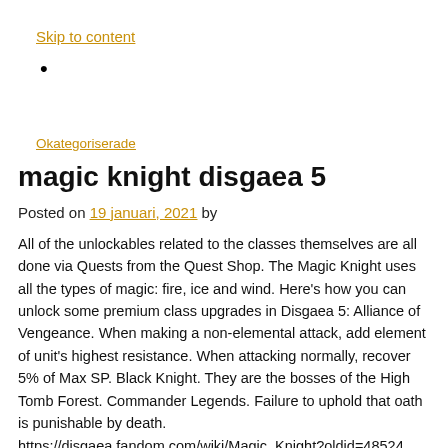Skip to content
•
Okategoriserade
magic knight disgaea 5
Posted on 19 januari, 2021 by
All of the unlockables related to the classes themselves are all done via Quests from the Quest Shop. The Magic Knight uses all the types of magic: fire, ice and wind. Here's how you can unlock some premium class upgrades in Disgaea 5: Alliance of Vengeance. When making a non-elemental attack, add element of unit's highest resistance. When attacking normally, recover 5% of Max SP. Black Knight. They are the bosses of the High Tomb Forest. Commander Legends. Failure to uphold that oath is punishable by death. https://disgaea.fandom.com/wiki/Magic_Knight?oldid=48524.